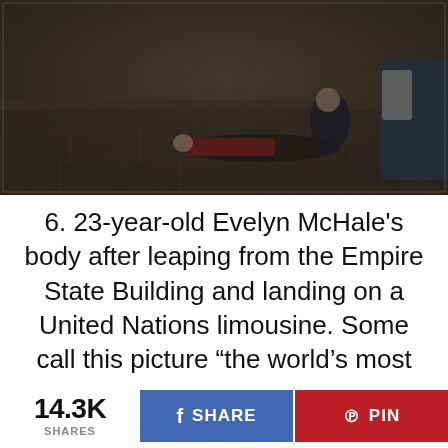[Figure (photo): Dark, grainy photograph showing people on a street/sidewalk, appearing to depict a chaotic scene]
6. 23-year-old Evelyn McHale's body after leaping from the Empire State Building and landing on a United Nations limousine. Some call this picture “the world’s most beautiful suicide."
14.3K SHARES
f SHARE
℗ PIN